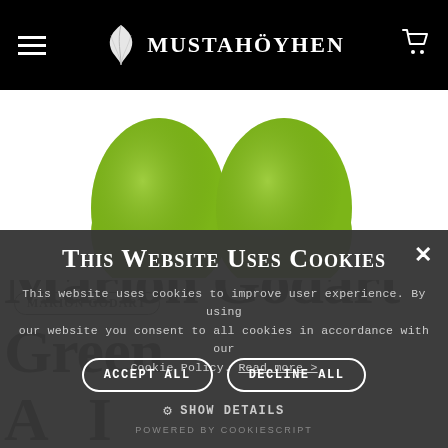MUSTAHÖYHEN — navigation header with hamburger menu and cart icon
[Figure (photo): Two olive-green rounded stemless wine glasses side by side on white background]
MARION GODART
Marion Godart Green A...
THIS WEBSITE USES COOKIES
This website uses cookies to improve user experience. By using our website you consent to all cookies in accordance with our Cookie Policy. Read more >
ACCEPT ALL
DECLINE ALL
⚙ SHOW DETAILS
POWERED BY COOKIESCRIPT